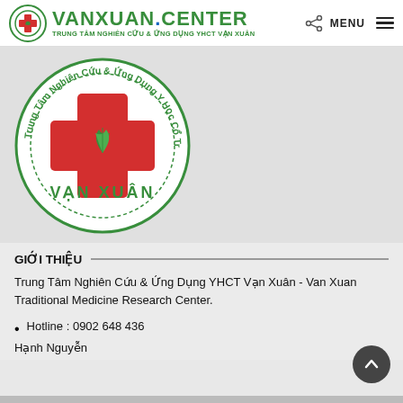VANXUAN.CENTER — TRUNG TÂM NGHIÊN CỨU & ỨNG DỤNG YHCT VẠN XUÂN
[Figure (logo): Van Xuan center circular seal logo with red cross and green leaves, surrounded by Vietnamese text 'Trung Tâm Nghiên Cứu & Ứng Dụng Y Học Cổ Truyền' and 'VẠN XUÂN' at the bottom]
GIỚI THIỆU
Trung Tâm Nghiên Cứu & Ứng Dụng YHCT Vạn Xuân - Van Xuan Traditional Medicine Research Center.
Hotline : 0902 648 436
Hạnh Nguyễn